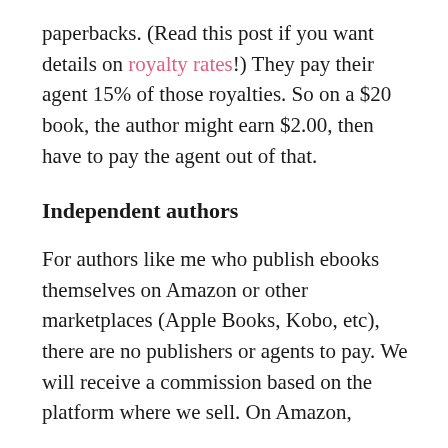paperbacks. (Read this post if you want details on royalty rates!) They pay their agent 15% of those royalties. So on a $20 book, the author might earn $2.00, then have to pay the agent out of that.
Independent authors
For authors like me who publish ebooks themselves on Amazon or other marketplaces (Apple Books, Kobo, etc), there are no publishers or agents to pay. We will receive a commission based on the platform where we sell. On Amazon,